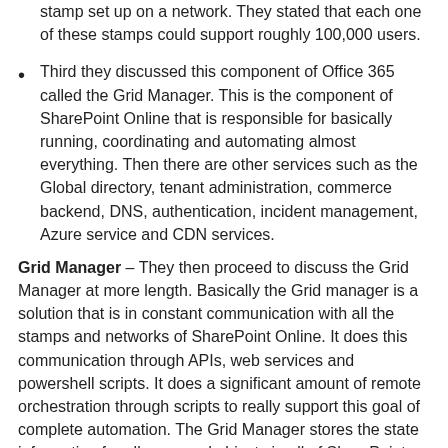stamp set up on a network. They stated that each one of these stamps could support roughly 100,000 users.
Third they discussed this component of Office 365 called the Grid Manager. This is the component of SharePoint Online that is responsible for basically running, coordinating and automating almost everything. Then there are other services such as the Global directory, tenant administration, commerce backend, DNS, authentication, incident management, Azure service and CDN services.
Grid Manager – They then proceed to discuss the Grid Manager at more length. Basically the Grid manager is a solution that is in constant communication with all the stamps and networks of SharePoint Online. It does this communication through APIs, web services and powershell scripts. It does a significant amount of remote orchestration through scripts to really support this goal of complete automation. The Grid Manager stores the state information for all managed objects in all of SharePoint Online. It has